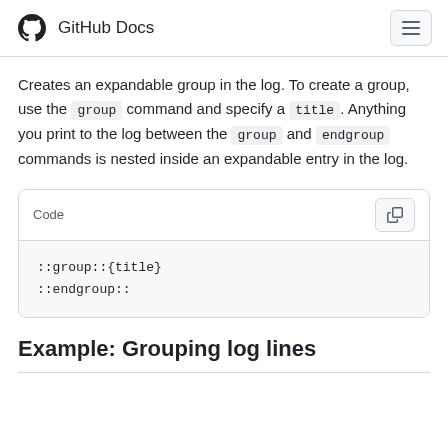GitHub Docs
Creates an expandable group in the log. To create a group, use the group command and specify a title. Anything you print to the log between the group and endgroup commands is nested inside an expandable entry in the log.
[Figure (screenshot): Code block showing: ::group::{title} ::endgroup::]
Example: Grouping log lines